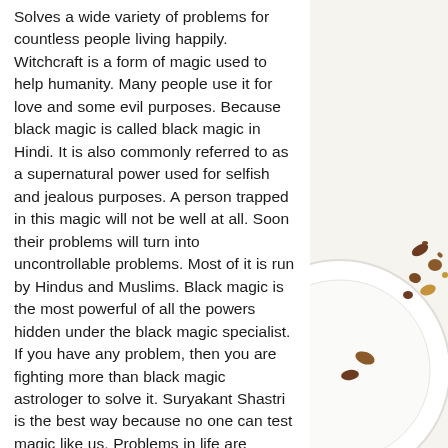Solves a wide variety of problems for countless people living happily. Witchcraft is a form of magic used to help humanity. Many people use it for love and some evil purposes. Because black magic is called black magic in Hindi. It is also commonly referred to as a supernatural power used for selfish and jealous purposes. A person trapped in this magic will not be well at all. Soon their problems will turn into uncontrollable problems. Most of it is run by Hindus and Muslims. Black magic is the most powerful of all the powers hidden under the black magic specialist. If you have any problem, then you are fighting more than black magic astrologer to solve it. Suryakant Shastri is the best way because no one can test magic like us. Problems in life are unpredictable and they can adversely affect your life. Problems with other experience devices that will prepare you for upcoming
[Figure (photo): Partial view of a white plate with nuts/seeds scattered around it on a light background, visible in the right portion of the page]